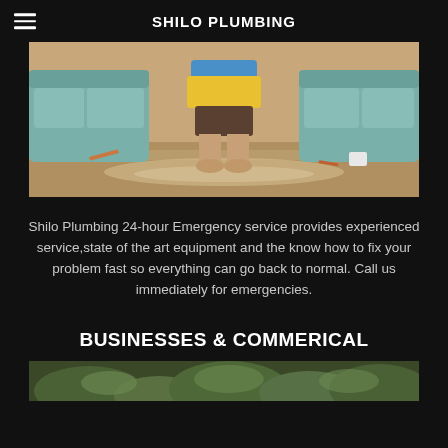SHILO PLUMBING
[Figure (photo): Child standing on a flooded floor next to a couch, water pooling around their feet on hardwood floor]
Shilo Plumbing 24-hour Emergency service provides experienced service,state of the art equipment and the know how to fix your problem fast so everything can go back to normal. Call us immediately for emergencies.
BUSINESSES & COMMERICAL
[Figure (photo): Partial view of green foliage or plants, bottom of page]